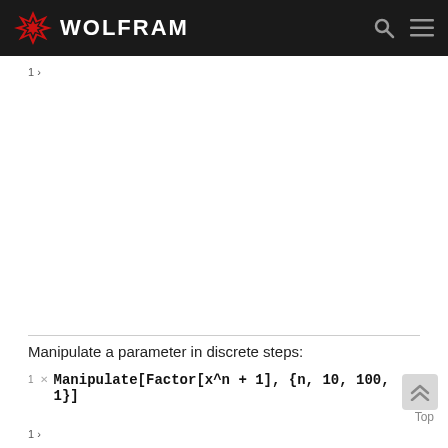WOLFRAM
1 ›
Manipulate a parameter in discrete steps:
1 ›